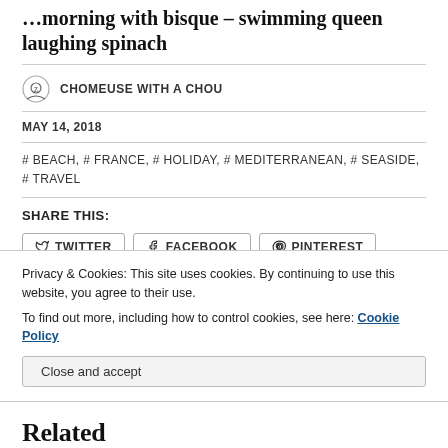…morning with bisque – swimming queen laughing spinach
CHOMEUSE WITH A CHOU
MAY 14, 2018
# BEACH, # FRANCE, # HOLIDAY, # MEDITERRANEAN, # SEASIDE, # TRAVEL
SHARE THIS:
TWITTER  FACEBOOK  PINTEREST
LIKE THIS:
Privacy & Cookies: This site uses cookies. By continuing to use this website, you agree to their use.
To find out more, including how to control cookies, see here: Cookie Policy
Close and accept
Related